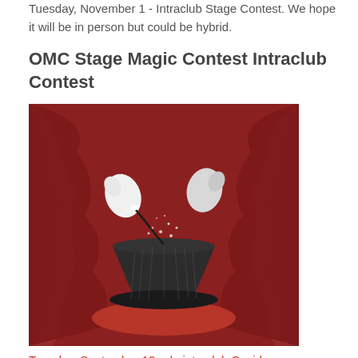Tuesday, November 1 - Intraclub Stage Contest. We hope it will be in person but could be hybrid.
OMC Stage Magic Contest Intraclub Contest
[Figure (illustration): Illustration of a magician's top hat on a red platform with a magic wand and gloved hands above it, sparks coming from the hat, against a red draped curtain background.]
Tuesday, September 13 - d...intraclub Covid...